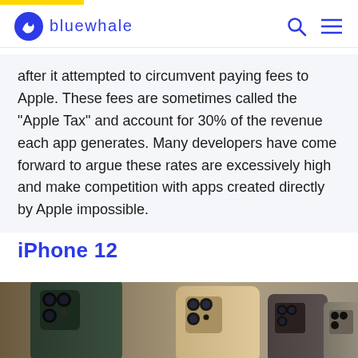bluewhale
after it attempted to circumvent paying fees to Apple. These fees are sometimes called the "Apple Tax" and account for 30% of the revenue each app generates. Many developers have come forward to argue these rates are excessively high and make competition with apps created directly by Apple impossible.
iPhone 12
[Figure (photo): Several iPhone 12 Pro models shown from the back, displaying different color options including space gray/midnight green, gold, and silver/dark, with triple camera systems visible.]